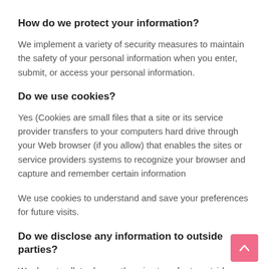How do we protect your information?
We implement a variety of security measures to maintain the safety of your personal information when you enter, submit, or access your personal information.
Do we use cookies?
Yes (Cookies are small files that a site or its service provider transfers to your computers hard drive through your Web browser (if you allow) that enables the sites or service providers systems to recognize your browser and capture and remember certain information
We use cookies to understand and save your preferences for future visits.
Do we disclose any information to outside parties?
We do not sell, trade, or otherwise transfer to outside parties your personally identifiable information. This does not